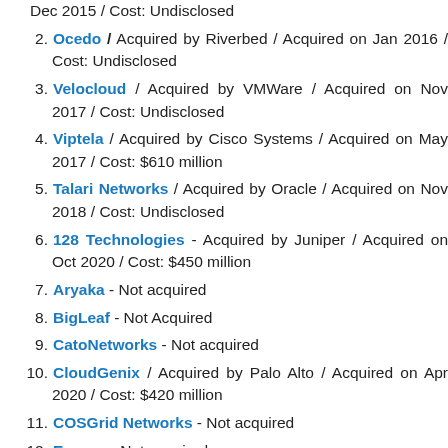Dec 2015 / Cost: Undisclosed
Ocedo / Acquired by Riverbed / Acquired on Jan 2016 / Cost: Undisclosed
Velocloud / Acquired by VMWare / Acquired on Nov 2017 / Cost: Undisclosed
Viptela / Acquired by Cisco Systems / Acquired on May 2017 / Cost: $610 million
Talari Networks / Acquired by Oracle / Acquired on Nov 2018 / Cost: Undisclosed
128 Technologies - Acquired by Juniper / Acquired on Oct 2020 / Cost: $450 million
Aryaka - Not acquired
BigLeaf - Not Acquired
CatoNetworks - Not acquired
CloudGenix / Acquired by Palo Alto / Acquired on Apr 2020 / Cost: $420 million
COSGrid Networks - Not acquired
Ecessa - Not acquired